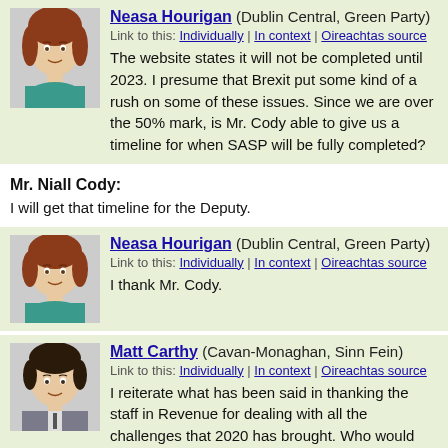Neasa Hourigan (Dublin Central, Green Party)
Link to this: Individually | In context | Oireachtas source
The website states it will not be completed until 2023. I presume that Brexit put some kind of a rush on some of these issues. Since we are over the 50% mark, is Mr. Cody able to give us a timeline for when SASP will be fully completed?
Mr. Niall Cody:
I will get that timeline for the Deputy.
Neasa Hourigan (Dublin Central, Green Party)
Link to this: Individually | In context | Oireachtas source
I thank Mr. Cody.
Matt Carthy (Cavan-Monaghan, Sinn Fein)
Link to this: Individually | In context | Oireachtas source
I reiterate what has been said in thanking the staff in Revenue for dealing with all the challenges that 2020 has brought. Who would ever have thought that we would be talking a no-deal Brexit scenario as the second priority, weeks before it may happen?
I would like to discuss the issue of bogus self-employment and the